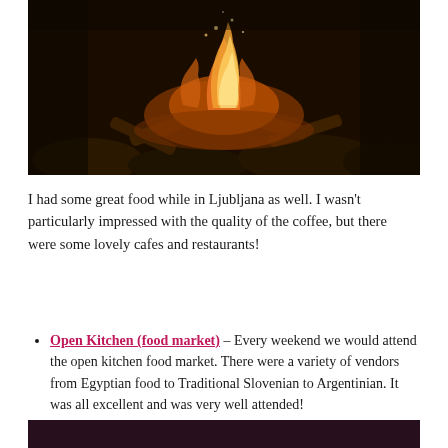[Figure (photo): Dark photo of a campfire with flames and rocks/wood visible, taken at night]
I had some great food while in Ljubljana as well. I wasn't particularly impressed with the quality of the coffee, but there were some lovely cafes and restaurants!
Open Kitchen (food market) – Every weekend we would attend the open kitchen food market. There were a variety of vendors from Egyptian food to Traditional Slovenian to Argentinian. It was all excellent and was very well attended!
[Figure (photo): Dark image at the bottom of the page, appears to be another food or market scene]